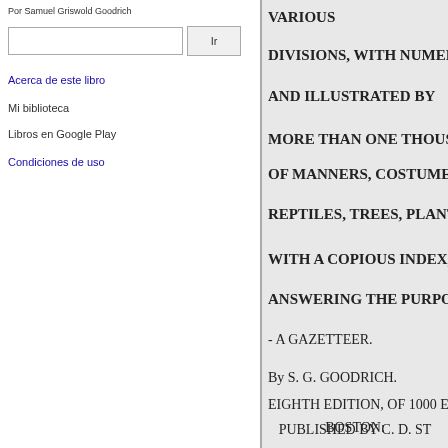Por Samuel Griswold Goodrich
Ir
Acerca de este libro
Mi biblioteca
Libros en Google Play
Condiciones de uso
VARIOUS
DIVISIONS, WITH NUMEROU
AND ILLUSTRATED BY
MORE THAN ONE THOUSAN
OF MANNERS, COSTUMES, C
REPTILES, TREES, PLANTS, L
WITH A COPIOUS INDEX,
ANSWERING THE PURPOSE
- A GAZETTEER.
By S. G. GOODRICH.
EIGHTH EDITION, OF 1000 E.
BOSTON:
PUBLISHED BY C. D. ST